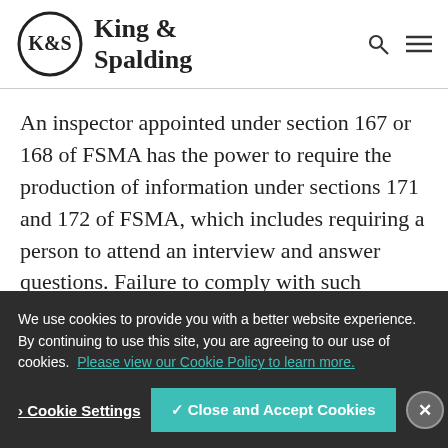King & Spalding
An inspector appointed under section 167 or 168 of FSMA has the power to require the production of information under sections 171 and 172 of FSMA, which includes requiring a person to attend an interview and answer questions. Failure to comply with such requirements amounts to contempt of
We use cookies to provide you with a better website experience. By continuing to use this site, you are agreeing to our use of cookies. Please view our Cookie Policy to learn more.
Cookie Settings  ✓ Close and Accept Cookies